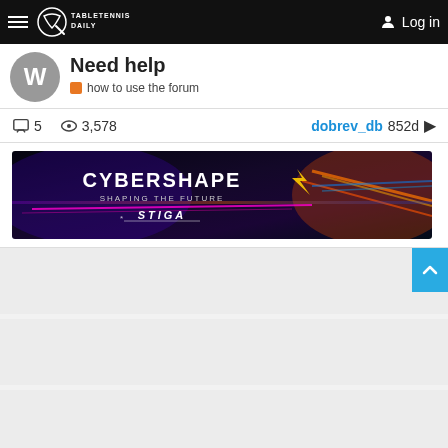TableTennisDaily — Log in
Need help
how to use the forum
5 comments · 3,578 views · dobrev_db 852d
[Figure (screenshot): CyberShape — Shaping the Future — STIGA advertisement banner with colorful laser/neon background]
Post list placeholder items (loading skeleton)